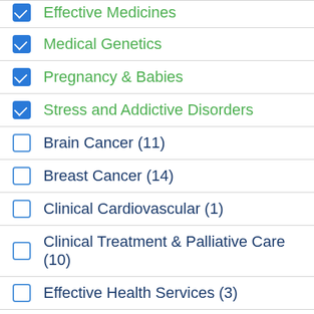Effective Medicines
Medical Genetics
Pregnancy & Babies
Stress and Addictive Disorders
Brain Cancer (11)
Breast Cancer (14)
Clinical Cardiovascular (1)
Clinical Treatment & Palliative Care (10)
Effective Health Services (3)
Healthy Lifestyles (2)
Loukaomia (9)